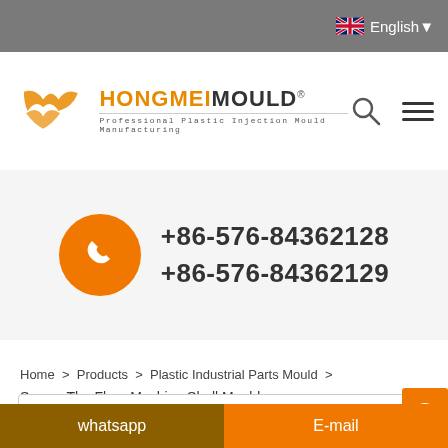English
[Figure (logo): Hongmei Mould logo with golden W-shaped icon and text 'HONGMEIMOULD R - Professional Plastic Injection Mould Manufacturing']
+86-576-84362128
+86-576-84362129
Home > Products > Plastic Industrial Parts Mould > Sweep The Floor Machine Shell Mould
Search
whatsapp    E-mail